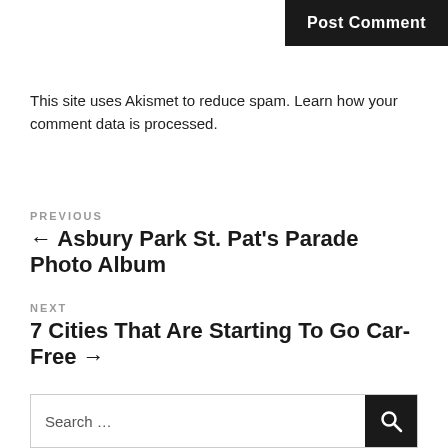Post Comment
This site uses Akismet to reduce spam. Learn how your comment data is processed.
PREVIOUS
← Asbury Park St. Pat's Parade Photo Album
NEXT
7 Cities That Are Starting To Go Car-Free →
Search ...